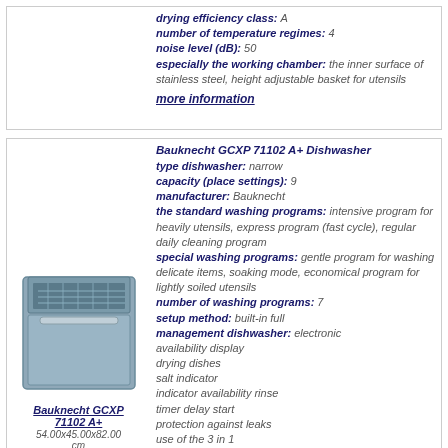drying efficiency class: A / number of temperature regimes: 4 / noise level (dB): 50 / especially the working chamber: the inner surface of stainless steel, height adjustable basket for utensils
more information
[Figure (photo): Bauknecht GCXP 71102 A+ dishwasher product photo]
Bauknecht GCXP 71102 A+
54.00x45.00x82.00 cm
built-in full; narrow; 9;
Bauknecht GCXP 71102 A+ Dishwasher type dishwasher: narrow capacity (place settings): 9 manufacturer: Bauknecht the standard washing programs: intensive program for heavily utensils, express program (fast cycle), regular daily cleaning program special washing programs: gentle program for washing delicate items, soaking mode, economical program for lightly soiled utensils number of washing programs: 7 setup method: built-in full management dishwasher: electronic availability display drying dishes salt indicator indicator availability rinse timer delay start protection against leaks use of the 3 in 1 water consumption (liter): 11.00 class of energy consumption: A weight (kg): 43.50 depth (cm): 54.00